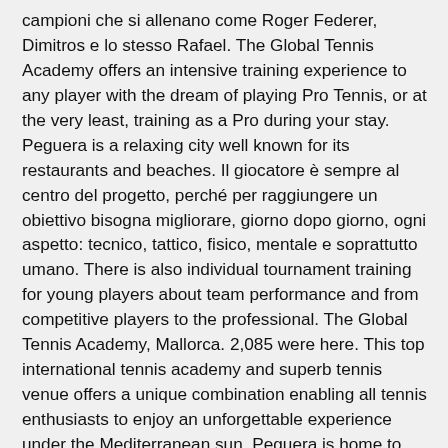campioni che si allenano come Roger Federer, Dimitros e lo stesso Rafael. The Global Tennis Academy offers an intensive training experience to any player with the dream of playing Pro Tennis, or at the very least, training as a Pro during your stay. Peguera is a relaxing city well known for its restaurants and beaches. Il giocatore è sempre al centro del progetto, perché per raggiungere un obiettivo bisogna migliorare, giorno dopo giorno, ogni aspetto: tecnico, tattico, fisico, mentale e soprattutto umano. There is also individual tournament training for young players about team performance and from competitive players to the professional. The Global Tennis Academy, Mallorca. 2,085 were here. This top international tennis academy and superb tennis venue offers a unique combination enabling all tennis enthusiasts to enjoy an unforgettable experience under the Mediterranean sun. Peguera is home to Tennis Academy Mallorca. Entdecken sie die Vorteile eines TOP Trainer : Staatlich geprüfter Tennislehrer (A-Lizenz), Wir kümmern Uns um jedes Detail Ihres Events und, BESTE PREISE - HÖCHSTER STANDARD - IMMER VOR ORT. Royal Club